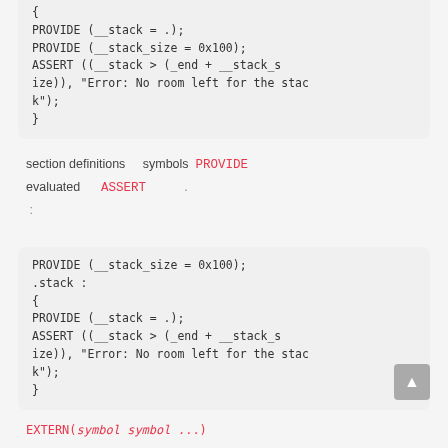{ PROVIDE (__stack = .); PROVIDE (__stack_size = 0x100); ASSERT ((__stack > (_end + __stack_size)), "Error: No room left for the stack"); }
section definitions  symbols PROVIDE evaluated  ASSERT .
PROVIDE (__stack_size = 0x100); .stack : { PROVIDE (__stack = .); ASSERT ((__stack > (_end + __stack_size)), "Error: No room left for the stack"); }
EXTERN(symbol symbol ...)